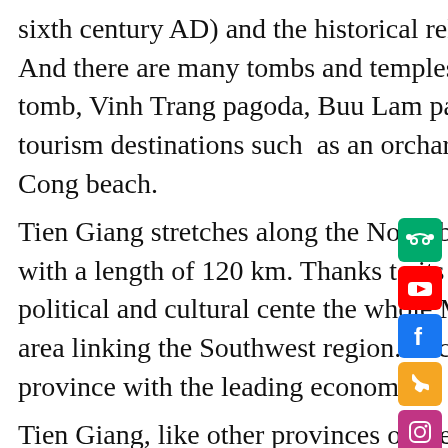sixth century AD) and the historical relics of Rach Gam - Xoai Mut, Ap Bac relics. And there are many tombs and temples: Truong Dinh tomb, royal tomb, Tu Kiet tomb, Vinh Trang pagoda, Buu Lam pagoda, Sac Tu pagoda,... There are new eco-tourism destinations such  as an orchard in Thoi Son islet, Dong Tam snake farm, Go Cong beach.
Tien Giang stretches along the North bank of Tien River (a branch of Mekong River) with a length of 120 km. Thanks to its very good position, Tien Giang has become the political and cultural center of the whole Mekong Delta, a very important transshipment area linking the Southwest region. Such position helped Tien Giang soon become a province with the leading economy in the Southwest region.
Tien Giang, like other provinces of the Southern region, is known for its famous variety of delicious fruits. Tourism in Tien Giang is mainly on the Mekong river tributaties, fruit plantations and enjoying peaceful rural life.
VietCam Holidays is happy to recommend the most interesting places to visit as well as the most delicious dishes to enjoy in